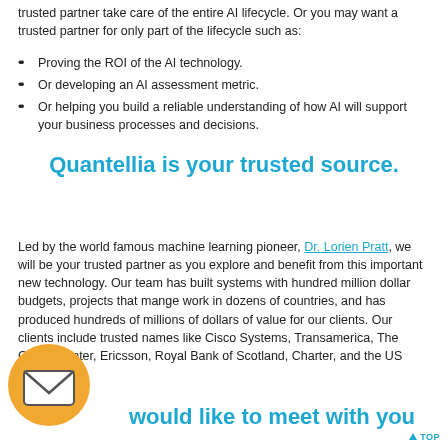trusted partner take care of the entire AI lifecycle. Or you may want a trusted partner for only part of the lifecycle such as:
Proving the ROI of the AI technology.
Or developing an AI assessment metric.
Or helping you build a reliable understanding of how AI will support your business processes and decisions.
Quantellia is your trusted source.
Led by the world famous machine learning pioneer, Dr. Lorien Pratt, we will be your trusted partner as you explore and benefit from this important new technology. Our team has built systems with hundred million dollar budgets, projects that mange work in dozens of countries, and has produced hundreds of millions of dollars of value for our clients. Our clients include trusted names like Cisco Systems, Transamerica, The Carter Center, Ericsson, Royal Bank of Scotland, Charter, and the US government.
We would like to meet with you to discuss your AI needs.